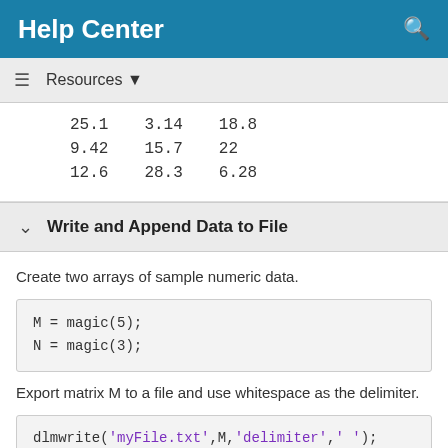Help Center
| 25.1 | 3.14 | 18.8 |
| 9.42 | 15.7 | 22 |
| 12.6 | 28.3 | 6.28 |
Write and Append Data to File
Create two arrays of sample numeric data.
Export matrix M to a file and use whitespace as the delimiter.
Append matrix N to the file, offset from the existing data by